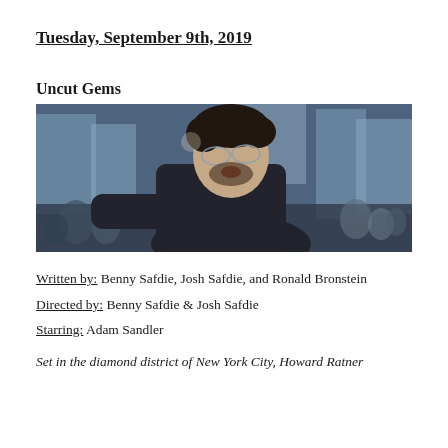Tuesday, September 9th, 2019
Uncut Gems
[Figure (photo): A man in a black leather jacket, with dark curly hair and glasses, appearing to gesture or shout on a busy New York City street with blurred pedestrians and buildings in the background.]
Written by: Benny Safdie, Josh Safdie, and Ronald Bronstein
Directed by: Benny Safdie & Josh Safdie
Starring: Adam Sandler
Set in the diamond district of New York City, Howard Ratner